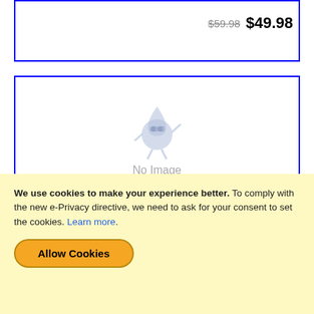$59.98  $49.98
[Figure (illustration): No Image placeholder with a blue cartoon water droplet mascot character and text 'No Image']
BRUSHED CHROME FAUCET - AIR GAP LONG REACH - TF-9830-BC
LONG REACH, AIR GAP FAUCET IN BRUSHED CHROME.
We use cookies to make your experience better. To comply with the new e-Privacy directive, we need to ask for your consent to set the cookies. Learn more.
Allow Cookies